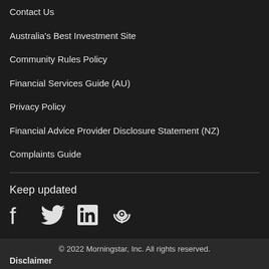Contact Us
Australia's Best Investment Site
Community Rules Policy
Financial Services Guide (AU)
Privacy Policy
Financial Advice Provider Disclosure Statement (NZ)
Complaints Guide
Keep updated
[Figure (infographic): Social media icons: Facebook, Twitter, LinkedIn, Podcast]
© 2022 Morningstar, Inc. All rights reserved.
Disclaimer